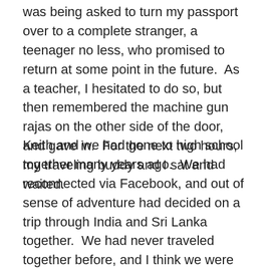was being asked to turn my passport over to a complete stranger, a teenager no less, who promised to return at some point in the future.  As a teacher, I hesitated to do so, but then remembered the machine gun rajas on the other side of the door, and gave in.  For the next two hours, my traveling buddy and I sat and waited.
Keith and we had gone to high school together many years ago.  We had reconnected via Facebook, and out of sense of adventure had decided on a trip through India and Sri Lanka together.  We had never traveled together before, and I think we were both a bit nervous about how things would play out.  Luckily for us though, there's nothing quite like being marched through an airport surrounded by machine gunned guards and watching your passport taken away by a teenager to bond you together.  We joked about the situation, both of hiding our